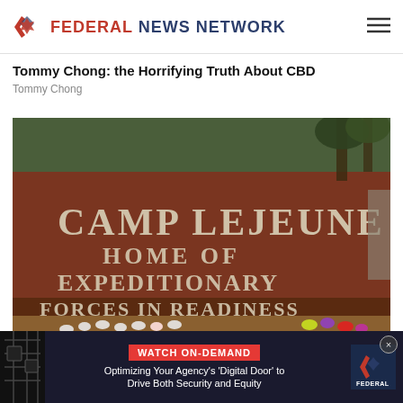FEDERAL NEWS NETWORK
Tommy Chong: the Horrifying Truth About CBD
Tommy Chong
[Figure (photo): Entrance sign of Camp Lejeune Marine Corps Base. A large red-brick monument sign reads 'CAMP LEJEUNE / HOME OF / EXPEDITIONARY / FORCES IN READINESS'. Floral arrangements are placed at the base of the sign. Trees and overcast sky visible in background.]
Camp Lejeune Families Finally Eligible for Com[pensation]
[Figure (screenshot): Advertisement banner for Federal News Network. Shows a 'WATCH ON-DEMAND' red button with text 'Optimizing Your Agency\'s Digital Door to Drive Both Security and Equity'. FNN logo on the right. Dark background with a circuit board image on the left. Close (X) button in top right corner.]